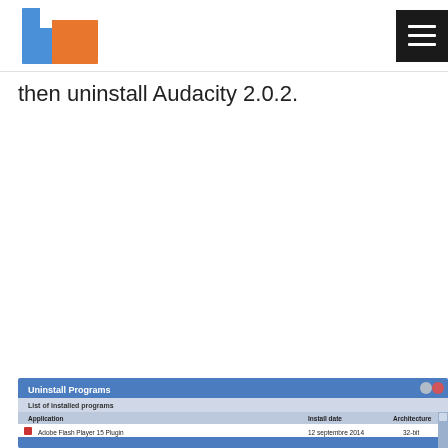Logo and hamburger menu
then uninstall Audacity 2.0.2.
[Figure (screenshot): Uninstall Programs dialog window showing a list of installed programs with columns: Application, Install date, Architecture. Visible entry: Adobe Flash Player 15 Plugin, 12 septembre 2014, 32-bit]